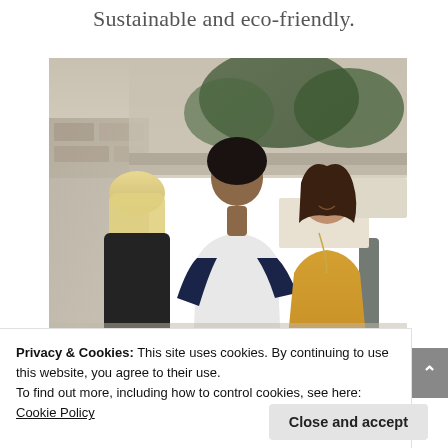Sustainable and eco-friendly.
[Figure (photo): Three young people talking outdoors — a blonde woman with back to camera in black top, a young man in white and navy raglan t-shirt, and a smiling young woman in a yellow long-sleeve top with a long necklace. Background shows stone steps and green plants.]
Privacy & Cookies: This site uses cookies. By continuing to use this website, you agree to their use.
To find out more, including how to control cookies, see here:
Cookie Policy
Close and accept
conversation with your teen about